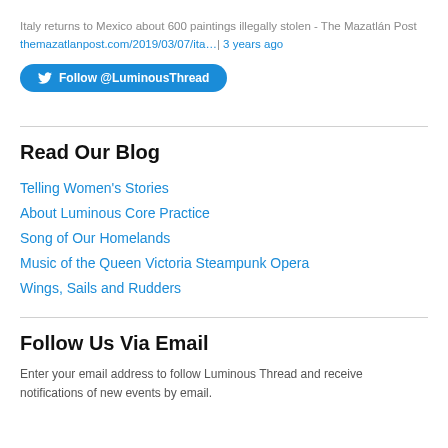Italy returns to Mexico about 600 paintings illegally stolen - The Mazatlán Post themazatlanpost.com/2019/03/07/ita…| 3 years ago
[Figure (other): Twitter Follow button: Follow @LuminousThread]
Read Our Blog
Telling Women's Stories
About Luminous Core Practice
Song of Our Homelands
Music of the Queen Victoria Steampunk Opera
Wings, Sails and Rudders
Follow Us Via Email
Enter your email address to follow Luminous Thread and receive notifications of new events by email.